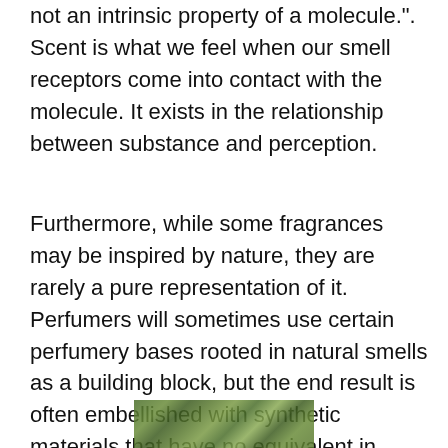not an intrinsic property of a molecule.". Scent is what we feel when our smell receptors come into contact with the molecule. It exists in the relationship between substance and perception.
Furthermore, while some fragrances may be inspired by nature, they are rarely a pure representation of it. Perfumers will sometimes use certain perfumery bases rooted in natural smells as a building block, but the end result is often embellished with synthetic materials that have no equivalent in nature. With advances in chemistry, Turin suggests that the modern day perfumer has become like the abstract painter, no longer bound to realism.
[Figure (photo): A partial photograph of foliage or natural greenery, cropped at the bottom of the page.]